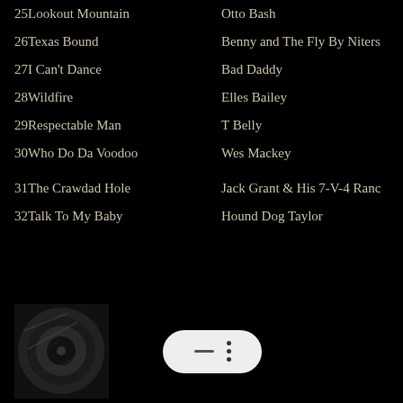25Lookout Mountain — Otto Bash
26Texas Bound — Benny and The Fly By Niters
27I Can't Dance — Bad Daddy
28Wildfire — Elles Bailey
29Respectable Man — T Belly
30Who Do Da Voodoo — Wes Mackey
31The Crawdad Hole — Jack Grant & His 7-V-4 Ranc
32Talk To My Baby — Hound Dog Taylor
[Figure (photo): Black and white photo of a vinyl record]
[Figure (other): Media player control button with dash and three dots]